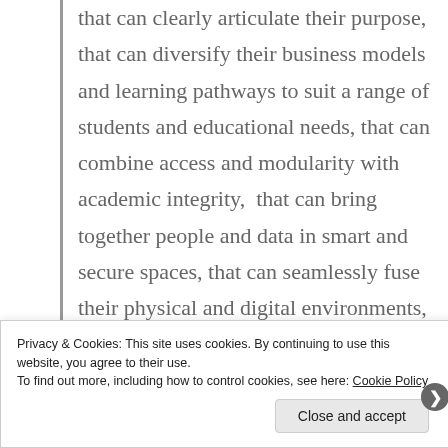that can clearly articulate their purpose, that can diversify their business models and learning pathways to suit a range of students and educational needs, that can combine access and modularity with academic integrity,  that can bring together people and data in smart and secure spaces, that can seamlessly fuse their physical and digital environments, that invest their precious cash and KASH wisely and most are all are always willing to learn.
Privacy & Cookies: This site uses cookies. By continuing to use this website, you agree to their use.
To find out more, including how to control cookies, see here: Cookie Policy